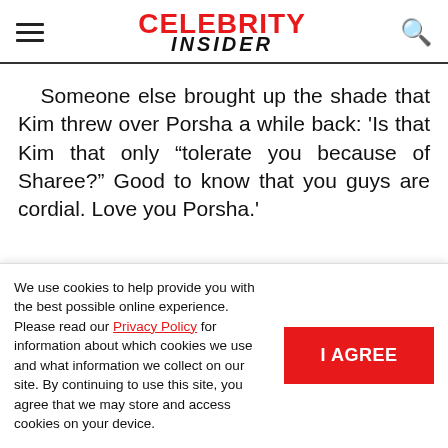Celebrity Insider
Someone else brought up the shade that Kim threw over Porsha a while back: 'Is that Kim that only “tolerate you because of Sharee?” Good to know that you guys are cordial. Love you Porsha.'
We use cookies to help provide you with the best possible online experience. Please read our Privacy Policy for information about which cookies we use and what information we collect on our site. By continuing to use this site, you agree that we may store and access cookies on your device.